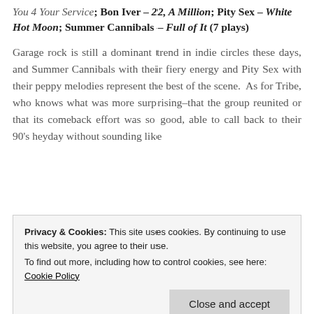You 4 Your Service; Bon Iver – 22, A Million; Pity Sex – White Hot Moon; Summer Cannibals – Full of It (7 plays)
Garage rock is still a dominant trend in indie circles these days, and Summer Cannibals with their fiery energy and Pity Sex with their peppy melodies represent the best of the scene. As for Tribe, who knows what was more surprising–that the group reunited or that its comeback effort was so good, able to call back to their 90's heyday without sounding like
Privacy & Cookies: This site uses cookies. By continuing to use this website, you agree to their use.
To find out more, including how to control cookies, see here: Cookie Policy
Close and accept
in Shelter. Alcest brought some edge back (and a few